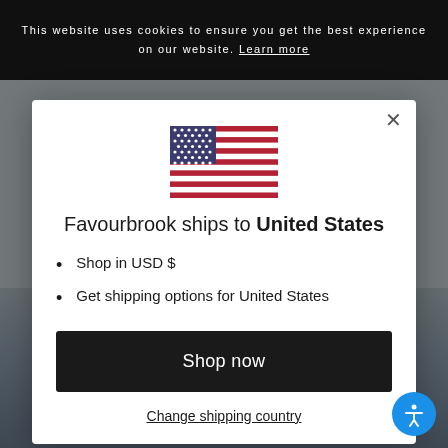This website uses cookies to ensure you get the best experience on our website. Learn more
[Figure (illustration): US flag icon centered in modal dialog]
Favourbrook ships to United States
Shop in USD $
Get shipping options for United States
Shop now
Change shipping country
[Figure (illustration): Blue circular accessibility icon with person symbol, bottom-right corner]